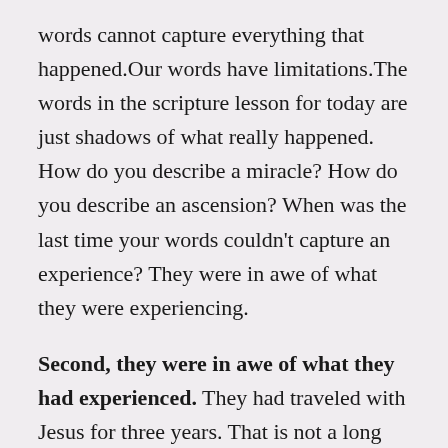words cannot capture everything that happened.Our words have limitations.The words in the scripture lesson for today are just shadows of what really happened. How do you describe a miracle? How do you describe an ascension? When was the last time your words couldn't capture an experience? They were in awe of what they were experiencing.
Second, they were in awe of what they had experienced. They had traveled with Jesus for three years. That is not a long time. How many relationships do you have that are older than three years? However, just think about everything they had experienced during those three years! There is more to a relationship then time. There is significance. They had seen Jesus heal the sick and the afflicted. They had heard his teachings and